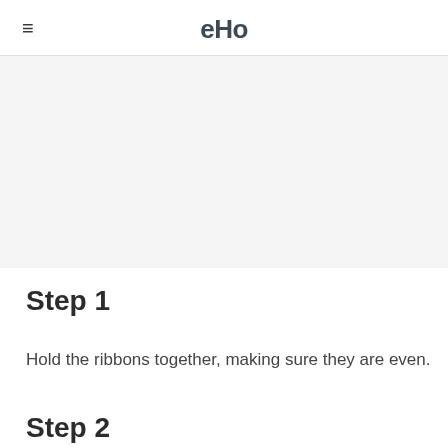≡  eHo
[Figure (other): Gray banner/image placeholder area]
Step 1
Hold the ribbons together, making sure they are even.
Step 2